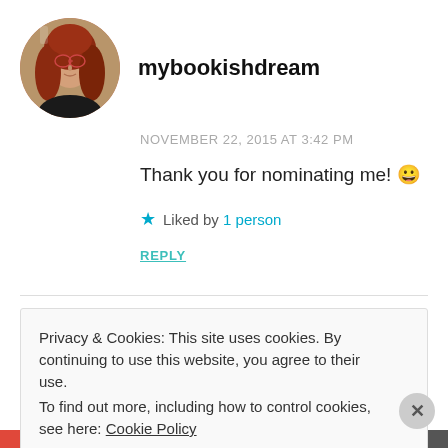[Figure (photo): Circular avatar photo of a woman with long red hair and glasses, wearing dark clothing. Blog profile picture.]
mybookishdream
NOVEMBER 22, 2015 AT 3:42 PM
Thank you for nominating me! 😀
★ Liked by 1 person
REPLY
Privacy & Cookies: This site uses cookies. By continuing to use this website, you agree to their use.
To find out more, including how to control cookies, see here: Cookie Policy
Close and accept